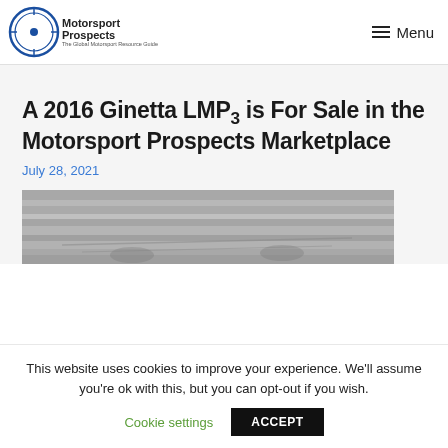Motorsport Prospects — Menu
A 2016 Ginetta LMP3 is For Sale in the Motorsport Prospects Marketplace
July 28, 2021
[Figure (photo): Grayscale photo of a Ginetta LMP3 race car]
This website uses cookies to improve your experience. We'll assume you're ok with this, but you can opt-out if you wish.
Cookie settings   ACCEPT